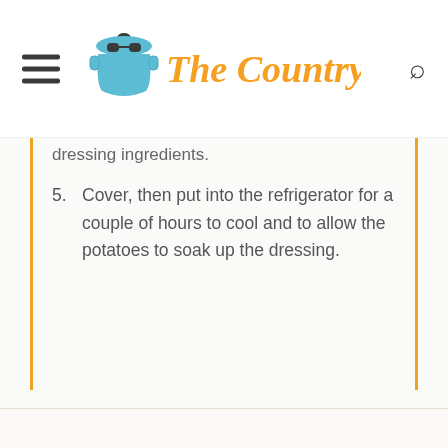The Country Cook
dressing ingredients.
5. Cover, then put into the refrigerator for a couple of hours to cool and to allow the potatoes to soak up the dressing.